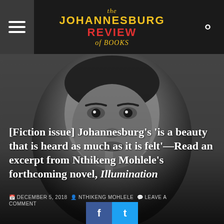the JOHANNESBURG REVIEW of BOOKS
[Figure (photo): Black and white close-up portrait of a man holding his finger to his lips in a thoughtful pose.]
[Fiction issue] Johannesburg's 'is a beauty that is heard as much as it is felt'—Read an excerpt from Nthikeng Mohlele's forthcoming novel, Illumination
DECEMBER 5, 2018 · NTHIKENG MOHLELE · LEAVE A COMMENT